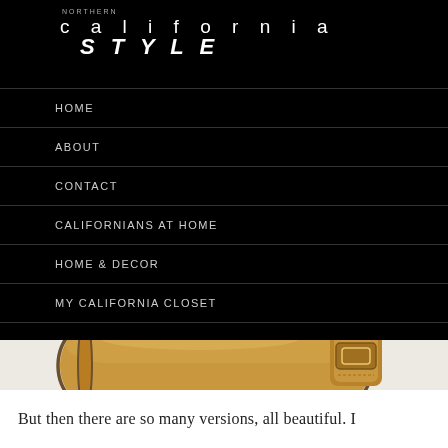NORTHERN california STYLE
HOME
ABOUT
CONTACT
CALIFORNIANS AT HOME
HOME & DECOR
MY CALIFORNIA CLOSET
[Figure (photo): Bottom view of a tan/caramel leather bag with strap buckle detail on white/light grey background]
But then there are so many versions, all beautiful. I